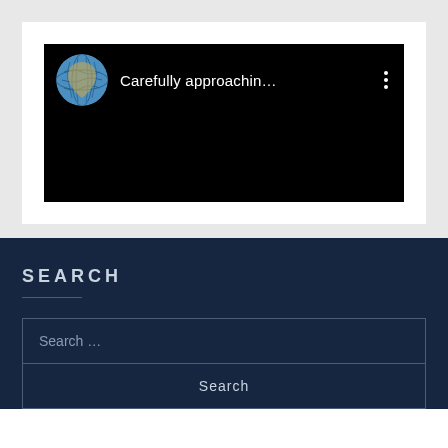[Figure (screenshot): A video player or media embed thumbnail with a black background. The top bar shows a globe icon on the left, the title 'Carefully approachin…' in white text, and a three-dot menu icon on the right.]
SEARCH
Search …
Search